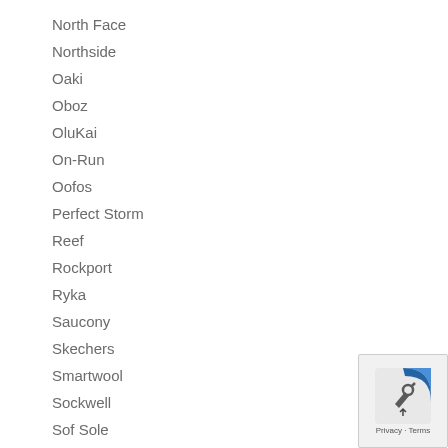North Face
Northside
Oaki
Oboz
OluKai
On-Run
Oofos
Perfect Storm
Reef
Rockport
Ryka
Saucony
Skechers
Smartwool
Sockwell
Sof Sole
Sorel